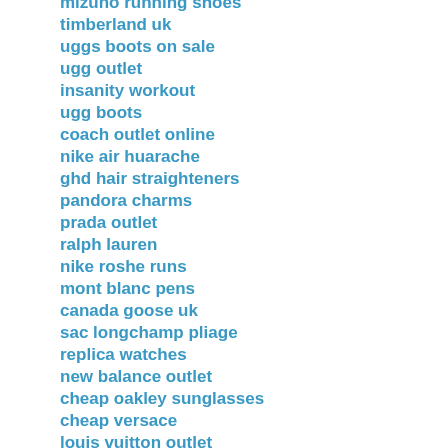mizuno running shoes
timberland uk
uggs boots on sale
ugg outlet
insanity workout
ugg boots
coach outlet online
nike air huarache
ghd hair straighteners
pandora charms
prada outlet
ralph lauren
nike roshe runs
mont blanc pens
canada goose uk
sac longchamp pliage
replica watches
new balance outlet
cheap oakley sunglasses
cheap versace
louis vuitton outlet
hollister kids
nike elite socks